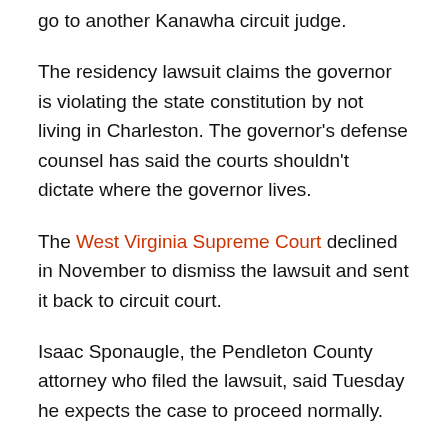go to another Kanawha circuit judge.
The residency lawsuit claims the governor is violating the state constitution by not living in Charleston. The governor's defense counsel has said the courts shouldn't dictate where the governor lives.
The West Virginia Supreme Court declined in November to dismiss the lawsuit and sent it back to circuit court.
Isaac Sponaugle, the Pendleton County attorney who filed the lawsuit, said Tuesday he expects the case to proceed normally.
“I usually give judges the benefit of the doubt. I just feel that’s proper,” he said. “They can take a look at it and make a determination for themselves, what they feel like they’ve got to do.”